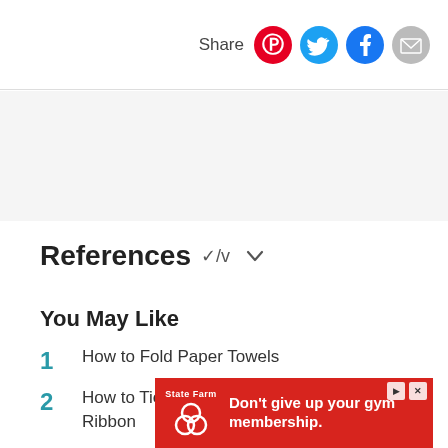Share
[Figure (other): Gray advertisement/content band]
References
You May Like
1  How to Fold Paper Towels
2  How to Tie Utensils in Paper Napkins With Ribbon
3  H...a
[Figure (other): State Farm advertisement banner: Don't give up your gym membership.]